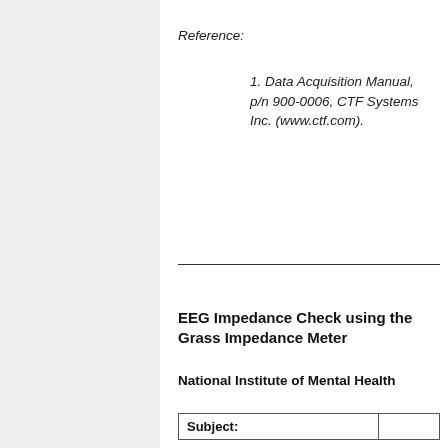Reference:
1. Data Acquisition Manual, p/n 900-0006, CTF Systems Inc. (www.ctf.com).
EEG Impedance Check using the Grass Impedance Meter
National Institute of Mental Health
| Subject: |  |
| --- | --- |